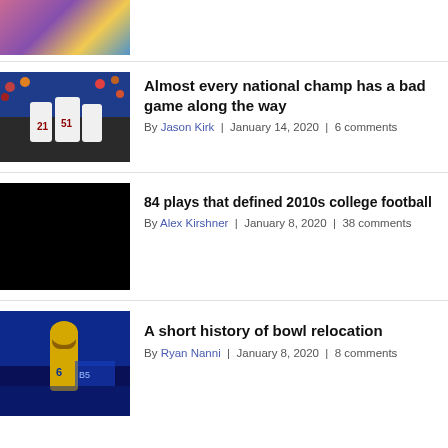[Figure (photo): Partial thumbnail of a sports/event photo at top of page, cropped]
Almost every national champ has a bad game along the way
By Jason Kirk | January 14, 2020 | 6 comments
[Figure (photo): Black thumbnail image]
84 plays that defined 2010s college football
By Alex Kirshner | January 8, 2020 | 38 comments
[Figure (photo): Football player on field under blue lighting]
A short history of bowl relocation
By Ryan Nanni | January 8, 2020 | 8 comments